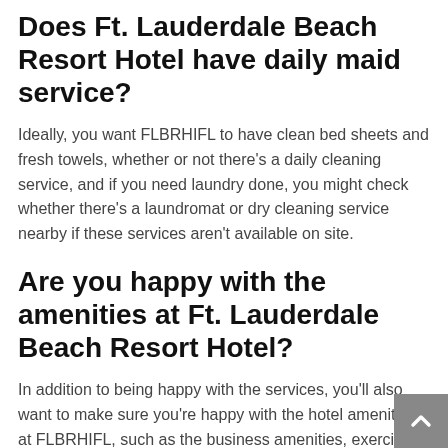Does Ft. Lauderdale Beach Resort Hotel have daily maid service?
Ideally, you want FLBRHIFL to have clean bed sheets and fresh towels, whether or not there's a daily cleaning service, and if you need laundry done, you might check whether there's a laundromat or dry cleaning service nearby if these services aren't available on site.
Are you happy with the amenities at Ft. Lauderdale Beach Resort Hotel?
In addition to being happy with the services, you'll also want to make sure you're happy with the hotel amenities at FLBRHIFL, such as the business amenities, exercise facilities and gym equipment (whether or not there's a 24 hour fitness center), whether rooms come with perks like electric fireplaces, shopping options